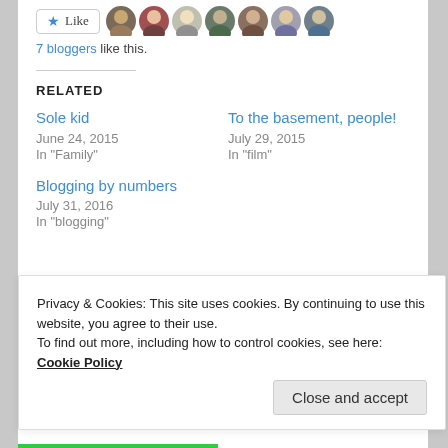7 bloggers like this.
RELATED
Sole kid
June 24, 2015
In "Family"
To the basement, people!
July 29, 2015
In "film"
Blogging by numbers
July 31, 2016
In "blogging"
Privacy & Cookies: This site uses cookies. By continuing to use this website, you agree to their use.
To find out more, including how to control cookies, see here: Cookie Policy